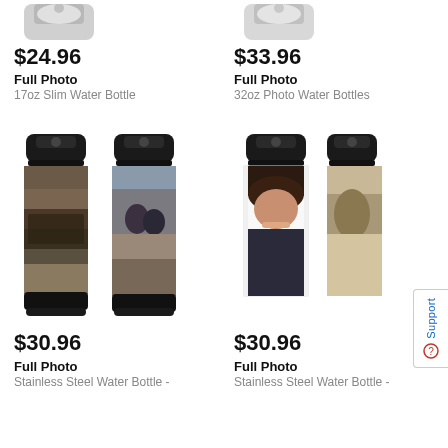[Figure (photo): Top of white/silver slim water bottle, partially cropped at top]
$24.96
Full Photo
17oz Slim Water Bottle
[Figure (photo): Top of white/silver water bottle, partially cropped at top]
$33.96
Full Photo
32oz Photo Water Bottles
[Figure (photo): Two stainless steel water bottles with black lids, one with rocky landscape photo, one with couple photo on mountain]
$30.96
Full Photo
Stainless Steel Water Bottle -
[Figure (photo): Two white stainless steel water bottles with black lids, one with smiling woman photo, one with outdoor person photo]
$30.96
Full Photo
Stainless Steel Water Bottle -